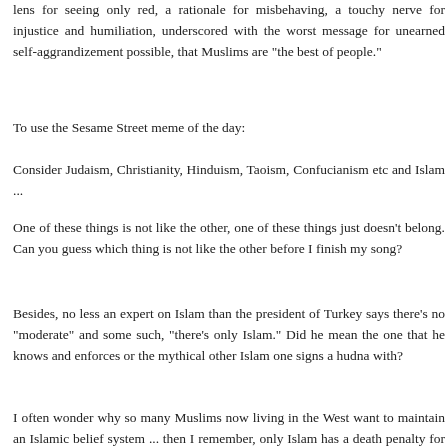lens for seeing only red, a rationale for misbehaving, a touchy nerve for injustice and humiliation, underscored with the worst message for unearned self-aggrandizement possible, that Muslims are "the best of people."
To use the Sesame Street meme of the day:
Consider Judaism, Christianity, Hinduism, Taoism, Confucianism etc and Islam ...
One of these things is not like the other, one of these things just doesn't belong. Can you guess which thing is not like the other before I finish my song?
Besides, no less an expert on Islam than the president of Turkey says there's no "moderate" and some such, "there's only Islam." Did he mean the one that he knows and enforces or the mythical other Islam one signs a hudna with?
I often wonder why so many Muslims now living in the West want to maintain an Islamic belief system ... then I remember, only Islam has a death penalty for apostates